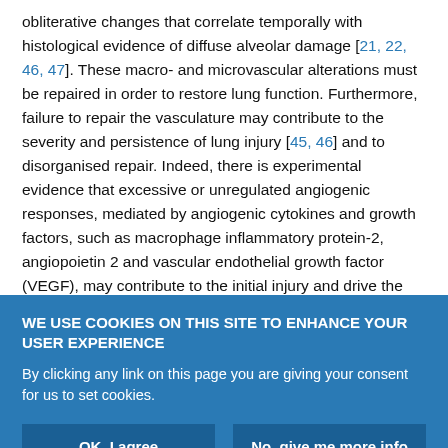obliterative changes that correlate temporally with histological evidence of diffuse alveolar damage [21, 22, 46, 47]. These macro- and microvascular alterations must be repaired in order to restore lung function. Furthermore, failure to repair the vasculature may contribute to the severity and persistence of lung injury [45, 46] and to disorganised repair. Indeed, there is experimental evidence that excessive or unregulated angiogenic responses, mediated by angiogenic cytokines and growth factors, such as macrophage inflammatory protein-2, angiopoietin 2 and vascular endothelial growth factor (VEGF), may contribute to the initial injury and drive the fibroproliferative response [48–50]. In translational studies,
WE USE COOKIES ON THIS SITE TO ENHANCE YOUR USER EXPERIENCE
By clicking any link on this page you are giving your consent for us to set cookies.
OK, I agree
No, give me more info